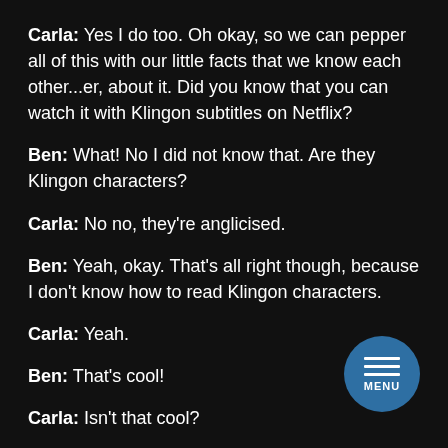Carla: Yes I do too. Oh okay, so we can pepper all of this with our little facts that we know each other...er, about it. Did you know that you can watch it with Klingon subtitles on Netflix?
Ben: What! No I did not know that. Are they Klingon characters?
Carla: No no, they're anglicised.
Ben: Yeah, okay. That's all right though, because I don't know how to read Klingon characters.
Carla: Yeah.
Ben: That's cool!
Carla: Isn't that cool?